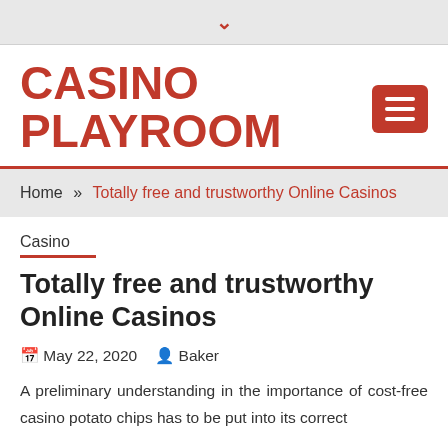▾
CASINO PLAYROOM
Home » Totally free and trustworthy Online Casinos
Casino
Totally free and trustworthy Online Casinos
May 22, 2020  Baker
A preliminary understanding in the importance of cost-free casino potato chips has to be put into its correct